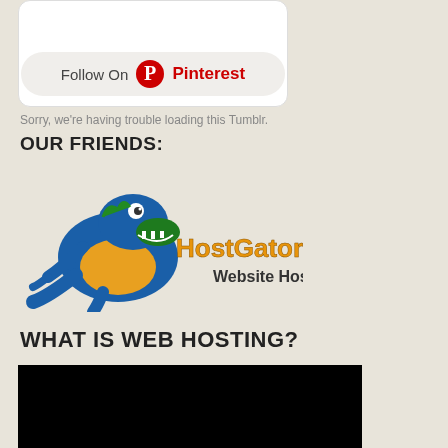[Figure (screenshot): Pinterest Follow button widget — white rounded card with 'Follow On Pinterest' button]
Sorry, we're having trouble loading this Tumblr.
OUR FRIENDS:
[Figure (logo): HostGator.com Website Hosting logo — cartoon alligator mascot with orange 'HostGator.com' text and 'Website Hosting' subtitle]
WHAT IS WEB HOSTING?
[Figure (screenshot): Black video player area]